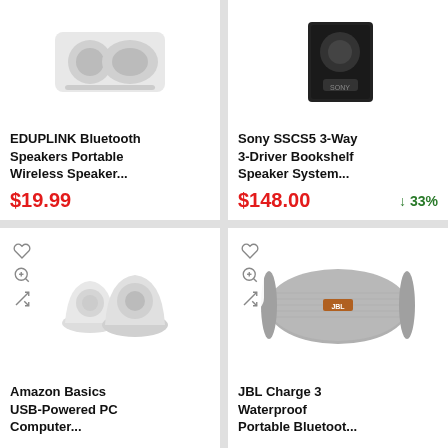[Figure (photo): EDUPLINK Bluetooth portable wireless speaker product image]
EDUPLINK Bluetooth Speakers Portable Wireless Speaker...
$19.99
[Figure (photo): Sony SSCS5 3-Way 3-Driver Bookshelf Speaker System product image]
Sony SSCS5 3-Way 3-Driver Bookshelf Speaker System...
$148.00
↓ 33%
[Figure (photo): Amazon Basics USB-Powered PC Computer speakers product image — two small white speakers]
Amazon Basics USB-Powered PC Computer...
[Figure (photo): JBL Charge 3 Waterproof Portable Bluetooth speaker product image — grey cylindrical speaker]
JBL Charge 3 Waterproof Portable Bluetoot...